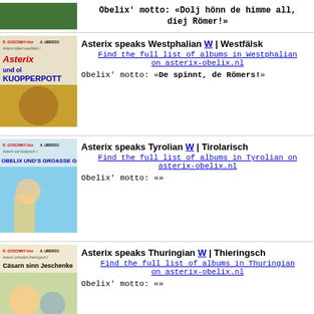Obelix' motto: «Dolj hönn de himme all, diej Römer!»
Asterix speaks Westphalian W | Westfälsk
Find the full list of albums in Westphalian on asterix-obelix.nl
Obelix' motto: «De spinnt, de Römers!»
Asterix speaks Tyrolian W | Tirolarisch
Find the full list of albums in Tyrolian on asterix-obelix.nl
Obelix' motto: «»
Asterix speaks Thuringian W | Thieringsch
Find the full list of albums in Thuringian on asterix-obelix.nl
Obelix' motto: «»